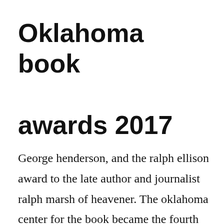Oklahoma book awards 2017
George henderson, and the ralph ellison award to the late author and journalist ralph marsh of heavener. The oklahoma center for the book became the fourth state center on february 28, 1986. Oklahoma book awards finalists announced the oklahoman. Books considered for this award must have an oklahomabased